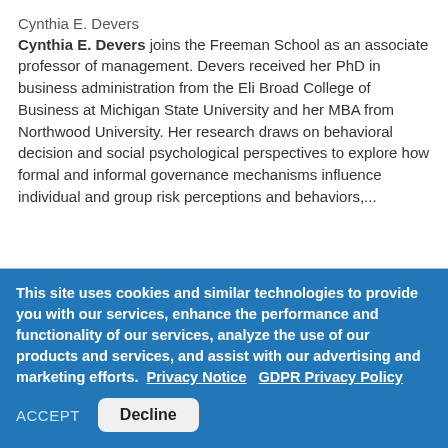Cynthia E. Devers
Cynthia E. Devers joins the Freeman School as an associate professor of management. Devers received her PhD in business administration from the Eli Broad College of Business at Michigan State University and her MBA from Northwood University. Her research draws on behavioral decision and social psychological perspectives to explore how formal and informal governance mechanisms influence individual and group risk perceptions and behaviors,...
This site uses cookies and similar technologies to provide you with our services, enhance the performance and functionality of our services, analyze the use of our products and services, and assist with our advertising and marketing efforts. Privacy Notice GDPR Privacy Policy
ACCEPT Decline